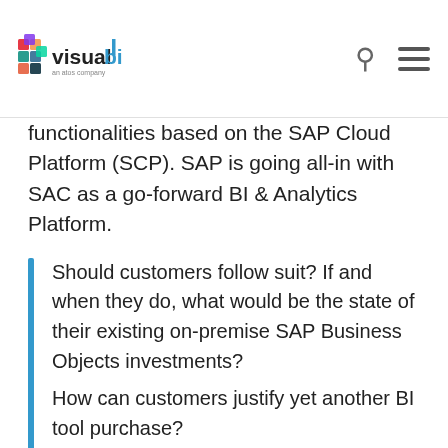visualbi an atos company
functionalities based on the SAP Cloud Platform (SCP). SAP is going all-in with SAC as a go-forward BI & Analytics Platform.
Should customers follow suit? If and when they do, what would be the state of their existing on-premise SAP Business Objects investments?
How can customers justify yet another BI tool purchase?
Is the SAP's Cloud BI Platform ready for prime time?
How can you transition to SAC from legacy SAP Business Objects tools?